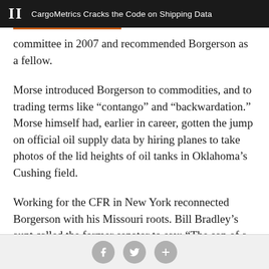II  CargoMetrics Cracks the Code on Shipping Data
committee in 2007 and recommended Borgerson as a fellow.
Morse introduced Borgerson to commodities, and to trading terms like “contango” and “backwardation.” Morse himself had, earlier in career, gotten the jump on official oil supply data by hiring planes to take photos of the lid heights of oil tanks in Oklahoma’s Cushing field.
Working for the CFR in New York reconnected Borgerson with his Missouri roots. Bill Bradley’s aunt called the former senator to say: “The son of a family who went to